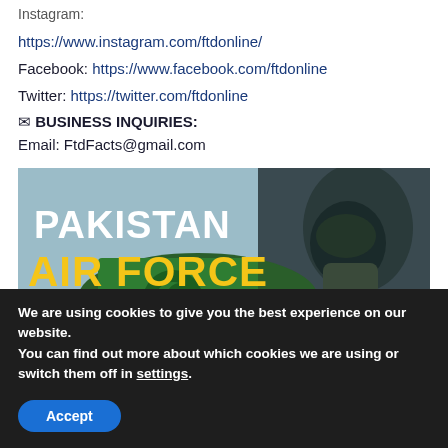Instagram:
https://www.instagram.com/ftdonline/
Facebook: https://www.facebook.com/ftdonline
Twitter: https://twitter.com/ftdonline
✉ BUSINESS INQUIRIES:
Email: FtdFacts@gmail.com
[Figure (photo): Pakistan Air Force promotional image showing a fighter jet with Pakistan flag design and a pilot in helmet and oxygen mask. Text overlay reads 'PAKISTAN AIR FORCE' in white and yellow.]
We are using cookies to give you the best experience on our website.
You can find out more about which cookies we are using or switch them off in settings.
Accept